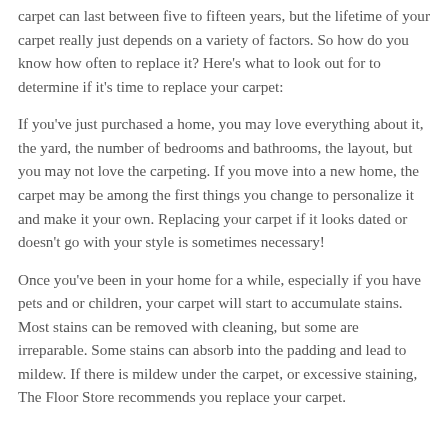carpet can last between five to fifteen years, but the lifetime of your carpet really just depends on a variety of factors. So how do you know how often to replace it? Here's what to look out for to determine if it's time to replace your carpet:
If you've just purchased a home, you may love everything about it, the yard, the number of bedrooms and bathrooms, the layout, but you may not love the carpeting. If you move into a new home, the carpet may be among the first things you change to personalize it and make it your own. Replacing your carpet if it looks dated or doesn't go with your style is sometimes necessary!
Once you've been in your home for a while, especially if you have pets and or children, your carpet will start to accumulate stains. Most stains can be removed with cleaning, but some are irreparable. Some stains can absorb into the padding and lead to mildew. If there is mildew under the carpet, or excessive staining, The Floor Store recommends you replace your carpet.